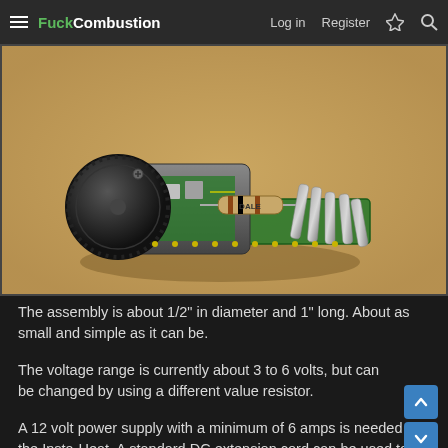FuckCombustion  Log in  Register
[Figure (photo): Close-up photo of a small electronic assembly (potentiometer/voltage regulator circuit) about 1/2 inch in diameter and 1 inch long, with a DALE resistor visible, green PCB, metal terminals, on a brown/tan surface background.]
The assembly is about 1/2" in diameter and 1" long. About as small and simple as it can be.
The voltage range is currently about 3 to 6 volts, but can be changed by using a different value resistor.
A 12 volt power supply with a minimum of 6 amps is needed for the Insta-Heat. A standard DC extension cord can be used to